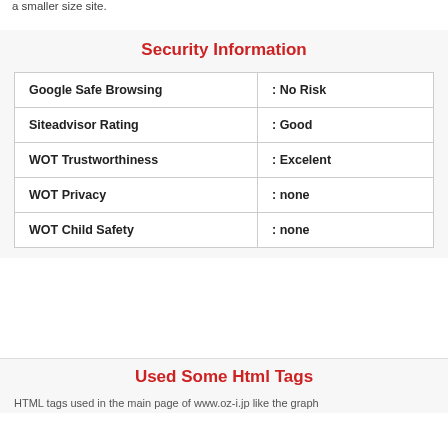a smaller size site.
Security Information
|  |  |
| --- | --- |
| Google Safe Browsing | : No Risk |
| Siteadvisor Rating | : Good |
| WOT Trustworthiness | : Excelent |
| WOT Privacy | : none |
| WOT Child Safety | : none |
Used Some Html Tags
HTML tags used in the main page of www.oz-i.jp like the graph